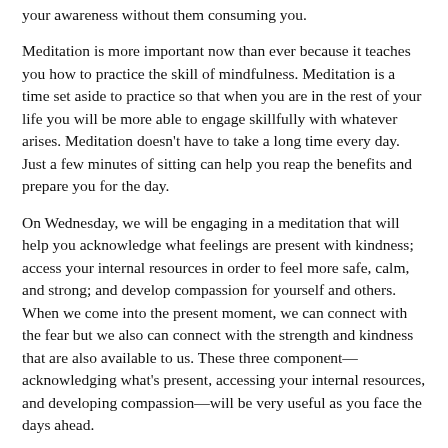your awareness without them consuming you.
Meditation is more important now than ever because it teaches you how to practice the skill of mindfulness. Meditation is a time set aside to practice so that when you are in the rest of your life you will be more able to engage skillfully with whatever arises. Meditation doesn't have to take a long time every day. Just a few minutes of sitting can help you reap the benefits and prepare you for the day.
On Wednesday, we will be engaging in a meditation that will help you acknowledge what feelings are present with kindness; access your internal resources in order to feel more safe, calm, and strong; and develop compassion for yourself and others. When we come into the present moment, we can connect with the fear but we also can connect with the strength and kindness that are also available to us. These three component—acknowledging what's present, accessing your internal resources, and developing compassion—will be very useful as you face the days ahead.
Our relationships with one another are so important and going online can help you feel more connected. The Zoom platform that The Center for Mindful Eating uses allows us to all see each other as we come together to practice our skills of presence and tenderness. We need each other now more than ever. I hope to see you soon!